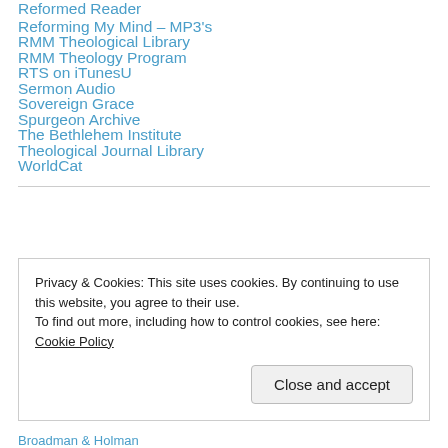Reformed Reader
Reforming My Mind – MP3's
RMM Theological Library
RMM Theology Program
RTS on iTunesU
Sermon Audio
Sovereign Grace
Spurgeon Archive
The Bethlehem Institute
Theological Journal Library
WorldCat
Privacy & Cookies: This site uses cookies. By continuing to use this website, you agree to their use. To find out more, including how to control cookies, see here: Cookie Policy
Close and accept
Broadman & Holman